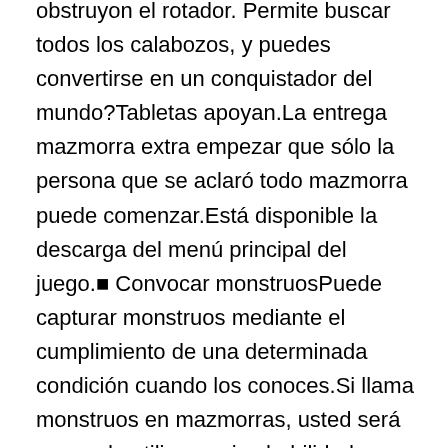obstruyon el rotador. Permite buscar todos los calabozos, y puedes convertirse en un conquistador del mundo?Tabletas apoyan.La entrega mazmorra extra empezar que sólo la persona que se aclaró todo mazmorra puede comenzar.Está disponible la descarga del menú principal del juego.■ Convocar monstruosPuede capturar monstruos mediante el cumplimiento de una determinada condición cuando los conoces.Si llama monstruos en mazmorras, usted será capaz de utilizar varios habilidad especial.■ Usted puede hacer sus propias mazmorras.Usted será capaz de tomar sus propias mazmorras cuando se empuja hacia adelante un juego.Usted puede mostrar a sus mazmorras a muchos otros jugadores.Además, puede obtener varios tesoro en la limpieza de las mazmorras de otros jugadores.■ Fortalecimiento de las armas y armadurasUsted puede fortalecer un arma, un equipo de protección.Como para el arma, la capacidad ofensiva aumenta.En cuanto a los equipos de protección, las defensas aumentan.Un arma, un equipo de